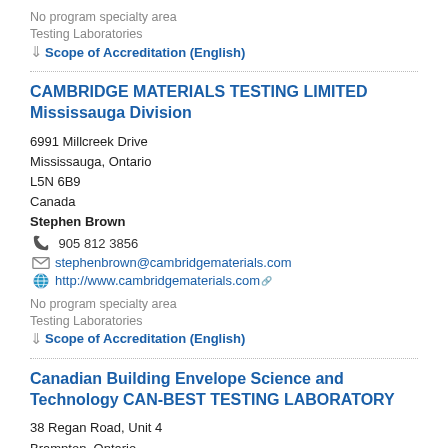No program specialty area
Testing Laboratories
Scope of Accreditation (English)
CAMBRIDGE MATERIALS TESTING LIMITED Mississauga Division
6991 Millcreek Drive
Mississauga, Ontario
L5N 6B9
Canada
Stephen Brown
905 812 3856
stephenbrown@cambridgematerials.com
http://www.cambridgematerials.com
No program specialty area
Testing Laboratories
Scope of Accreditation (English)
Canadian Building Envelope Science and Technology CAN-BEST TESTING LABORATORY
38 Regan Road, Unit 4
Brampton, Ontario
L7A 1C6